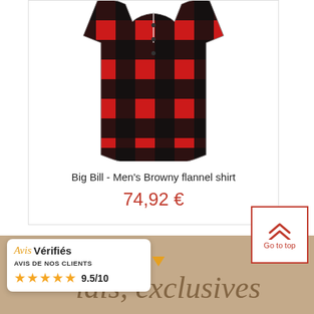[Figure (photo): Red and black buffalo check plaid flannel shirt displayed flat]
Big Bill - Men's Browny flannel shirt
74,92 €
[Figure (logo): Avis Vérifiés widget with star rating: AVIS DE NOS CLIENTS ★★★★★ 9.5/10]
ials, exclusives
[Figure (other): Go to top button with double chevron up arrow and text 'Go to top']